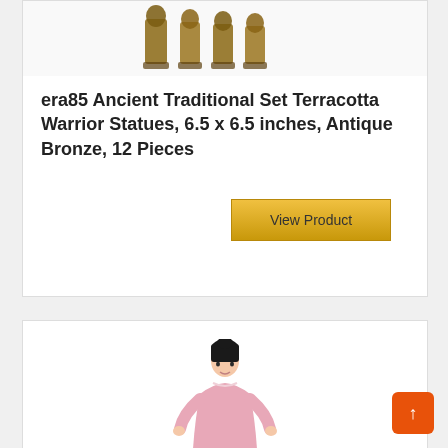[Figure (photo): Small bronze terracotta warrior statues arranged in a row, antique bronze finish]
era85 Ancient Traditional Set Terracotta Warrior Statues, 6.5 x 6.5 inches, Antique Bronze, 12 Pieces
[Figure (other): Button labeled 'View Product' with golden/yellow gradient background]
[Figure (photo): Young girl in traditional pink Chinese costume/hanbok dress, shown from approximately waist up, with dark hair]